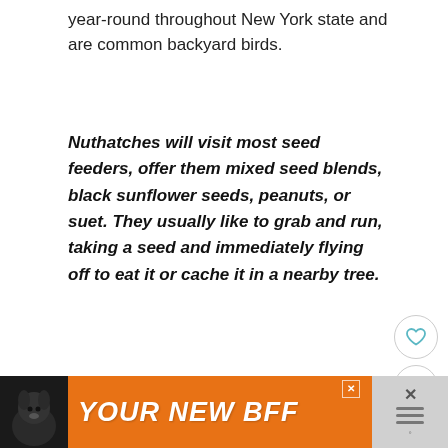year-round throughout New York state and are common backyard birds.
Nuthatches will visit most seed feeders, offer them mixed seed blends, black sunflower seeds, peanuts, or suet. They usually like to grab and run, taking a seed and immediately flying off to eat it or cache it in a nearby tree.
[Figure (other): Heart (favorite) button icon - circular button with heart outline]
[Figure (other): Share button icon - circular button with share/network icon]
WHAT'S NEXT → 9 Species of Woodpecker...
20. HOUSE SPARROW
[Figure (other): Orange advertisement banner: dog image on left, text YOUR NEW BFF, close buttons on right]